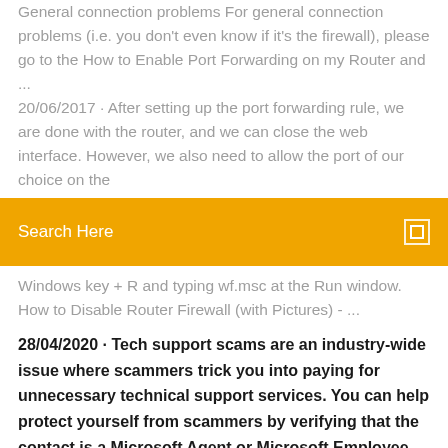General connection problems For general connection problems (i.e. you don't even know if it's the firewall), please go to the How to Enable Port Forwarding on my Router and ... 20/06/2017 · After setting up the port forwarding rule, we are done with the router, and we can close the web interface. However, we also need to allow the port of our choice on the
[Figure (screenshot): Orange search bar with text 'Search Here' and a small square icon on the right]
Windows key + R and typing wf.msc at the Run window. How to Disable Router Firewall (with Pictures) - ...
28/04/2020 · Tech support scams are an industry-wide issue where scammers trick you into paying for unnecessary technical support services. You can help protect yourself from scammers by verifying that the contact is a Microsoft Agent or Microsoft Employee and that the phone number is an official Microsoft global customer service number.
Firewall and router issues | Roblox Wikia | Fandom Like all